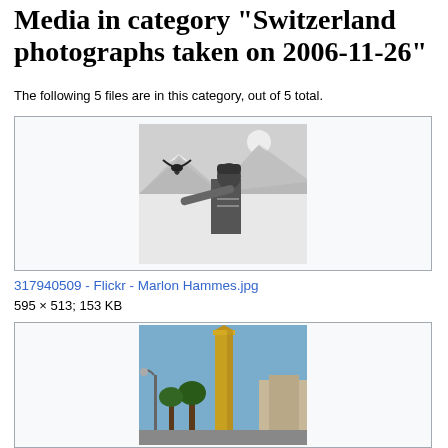Media in category "Switzerland photographs taken on 2006-11-26"
The following 5 files are in this category, out of 5 total.
[Figure (photo): Black and white photo of a person holding up a bird (eagle/hawk) against a snowy mountain backdrop with sun in background]
317940509 - Flickr - Marlon Hammes.jpg
595 × 513; 153 KB
[Figure (photo): Color photo of a tall golden/yellow tower or obelisk structure with trees and blue sky in background, urban setting]